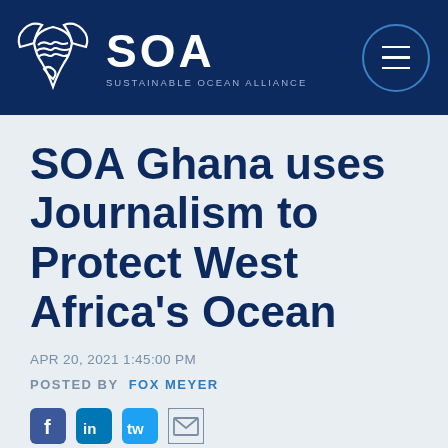SOA — SUSTAINABLE OCEAN ALLIANCE
SOA Ghana uses Journalism to Protect West Africa's Ocean
APR 20, 2021 1:45:00 PM
POSTED BY   FOX MEYER